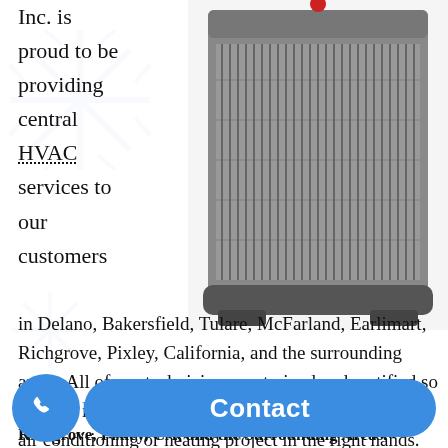Inc. is proud to be providing central HVAC services to our customers in Delano, Bakersfield, Tulare, McFarland, Earlimart, Richgrove, Pixley, California, and the surrounding areas. All of our technicians are trained and certified so you can rest assured that you are putting your central air conditioning or heating project in the right hands.
[Figure (photo): A central HVAC air conditioning unit, upright rectangular gray metal unit with vertical fins/grilles on sides, photographed against white background.]
Contact Us Today for Central HVAC Services in Delano, Bakersfield, Richgrove, Pixley, CA, and the Surrounding Areas.